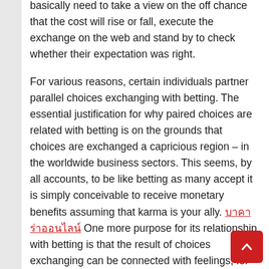basically need to take a view on the off chance that the cost will rise or fall, execute the exchange on the web and stand by to check whether their expectation was right.
For various reasons, certain individuals partner parallel choices exchanging with betting. The essential justification for why paired choices are related with betting is on the grounds that choices are exchanged a capricious region – in the worldwide business sectors. This seems, by all accounts, to be like betting as many accept it is simply conceivable to receive monetary benefits assuming that karma is your ally. บาคาร่าออนไลน์ One more purpose for its relationship with betting is that the result of choices exchanging can be connected with feelings, for example